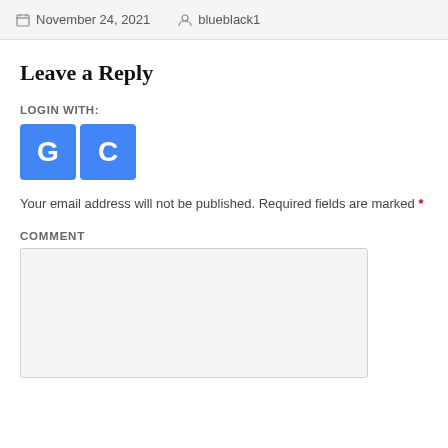November 24, 2021  blueblack1
Leave a Reply
LOGIN WITH:
[Figure (illustration): Two blue square login buttons with white letters G and C]
Your email address will not be published. Required fields are marked *
COMMENT
[Figure (other): Empty comment text area input field with light gray background]